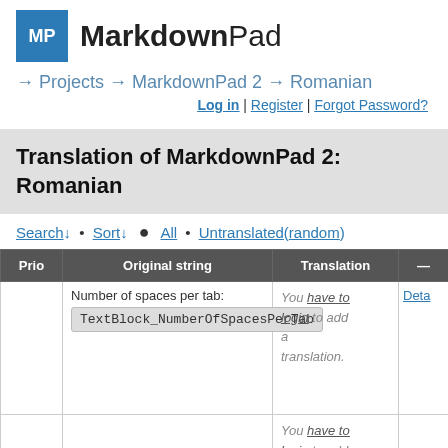[Figure (logo): MarkdownPad logo: blue square with white MP letters, followed by bold/regular MarkdownPad text]
MarkdownPad
→ Projects → MarkdownPad 2 → Romanian
Log in | Register | Forgot Password?
Translation of MarkdownPad 2: Romanian
Search ↓ • Sort ↓ ● All • Untranslated (random)
| Prio | Original string | Translation | — |
| --- | --- | --- | --- |
|  | Number of spaces per tab:
TextBlock_NumberOfSpacesPerTab | You have to login to add a translation. | Deta |
|  |  | You have to login to add |  |